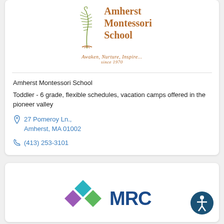[Figure (logo): Amherst Montessori School logo with plant/feather illustration and text 'Amherst Montessori School', tagline 'Awaken, Nurture, Inspire... since 1970']
Amherst Montessori School
Toddler - 6 grade, flexible schedules, vacation camps offered in the pioneer valley
27 Pomeroy Ln., Amherst, MA 01002
(413) 253-3101
[Figure (logo): MRC logo with colorful diamond shapes (teal, purple, green) and 'MRC' text in blue]